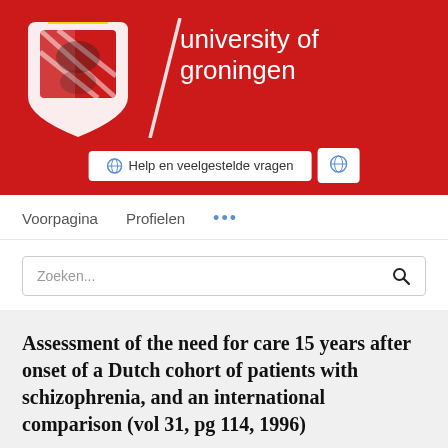[Figure (logo): University of Groningen logo: red banner with coat of arms shield, diagonal slash, and university name in white text]
Help en veelgestelde vragen
Voorpagina    Profielen    ...
Zoeken...
Assessment of the need for care 15 years after onset of a Dutch cohort of patients with schizophrenia, and an international comparison (vol 31, pg 114, 1996)